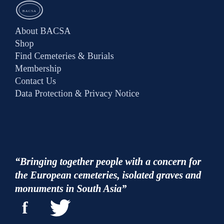[Figure (logo): BACSA circular seal/logo in white outline]
About BACSA
Shop
Find Cemeteries & Burials
Membership
Contact Us
Data Protection & Privacy Notice
“Bringing together people with a concern for the European cemeteries, isolated graves and monuments in South Asia”
[Figure (logo): Facebook and Twitter social media icons in white]